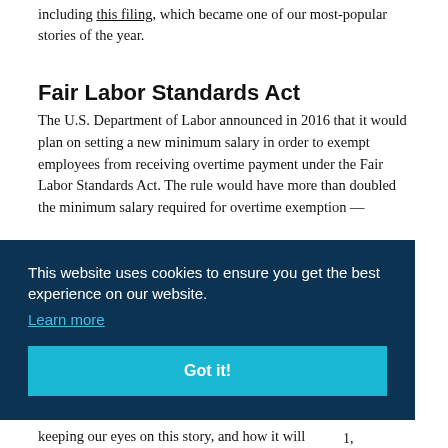including this filing, which became one of our most-popular stories of the year.
Fair Labor Standards Act
The U.S. Department of Labor announced in 2016 that it would plan on setting a new minimum salary in order to exempt employees from receiving overtime payment under the Fair Labor Standards Act. The rule would have more than doubled the minimum salary required for overtime exemption —
[Figure (screenshot): Cookie consent banner overlay with dark navy background. Contains text 'This website uses cookies to ensure you get the best experience on our website.' with a 'Learn more' link and a teal 'Got it!' button.]
keeping our eyes on this story, and how it will